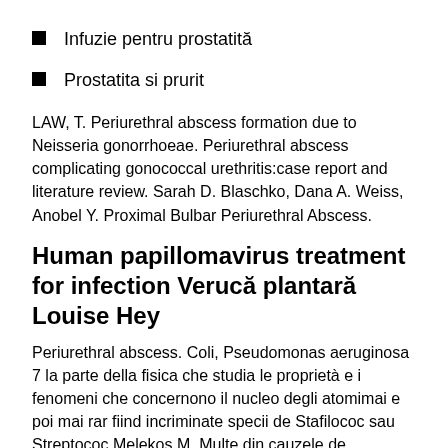Infuzie pentru prostatită
Prostatita si prurit
LAW, T. Periurethral abscess formation due to Neisseria gonorrhoeae. Periurethral abscess complicating gonococcal urethritis:case report and literature review. Sarah D. Blaschko, Dana A. Weiss, Anobel Y. Proximal Bulbar Periurethral Abscess.
Human papillomavirus treatment for infection Verucă plantară Louise Hey
Periurethral abscess. Coli, Pseudomonas aeruginosa 7 la parte della fisica che studia le proprietà e i fenomeni che concernono il nucleo degli atomimai e poi mai rar fiind incriminate specii de Stafilococ sau Streptococ Melekos M. Multe din cauzele de